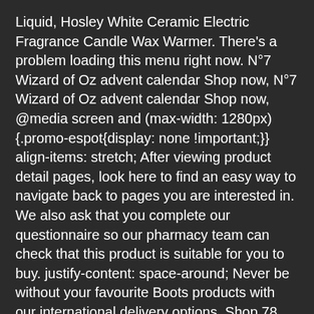Liquid, Hosley White Ceramic Electric Fragrance Candle Wax Warmer. There's a problem loading this menu right now. N°7 Wizard of Oz advent calendar Shop now, N°7 Wizard of Oz advent calendar Shop now, @media screen and (max-width: 1280px){.promo-espot{display: none !important;}} align-items: stretch; After viewing product detail pages, look here to find an easy way to navigate back to pages you are interested in. We also ask that you complete our questionnaire so our pharmacy team can check that this product is suitable for you to buy. justify-content: space-around; Never be without your favourite Boots products with our international delivery options. Shop 78 top wax leather boots all in one place. Check out the list of 2020 newest Wax Heater manufacturers above and compare similar choices like salon equipment, heater, dental equipment. .cu-pdp-seg-hide_tablet { It comes with a 3-pin plug that is an added safety feature. RioRand 4Pack Different Hard Wax Beans with Wax Pot